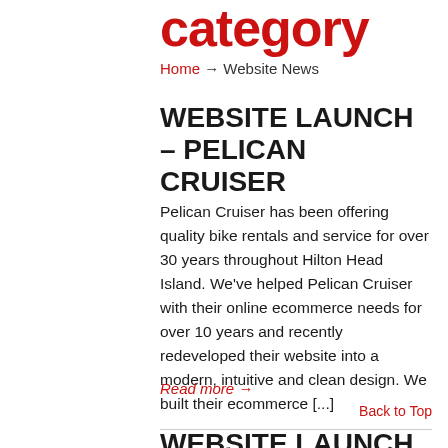category
Home → Website News
WEBSITE LAUNCH – PELICAN CRUISER
Pelican Cruiser has been offering quality bike rentals and service for over 30 years throughout Hilton Head Island. We've helped Pelican Cruiser with their online ecommerce needs for over 10 years and recently redeveloped their website into a modern, intuitive and clean design. We built their ecommerce [...]
Read more →
Back to Top
WEBSITE LAUNCH – LE COOKERY